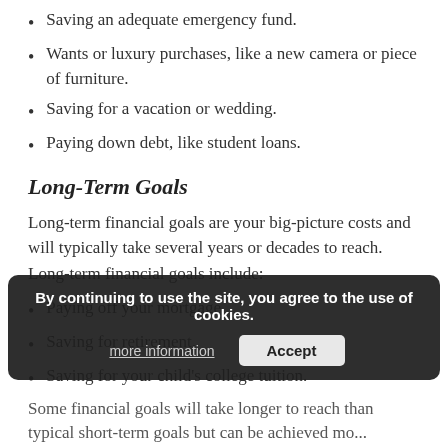Saving an adequate emergency fund.
Wants or luxury purchases, like a new camera or piece of furniture.
Saving for a vacation or wedding.
Paying down debt, like student loans.
Long-Term Goals
Long-term financial goals are your big-picture costs and will typically take several years or decades to reach. Long-term financial goals include:
Paying off your mortgage.
Saving for retirement.
Saving for your child's college tuition.
Some financial goals will take longer to reach than typical short-term goals but can be achieved mo...